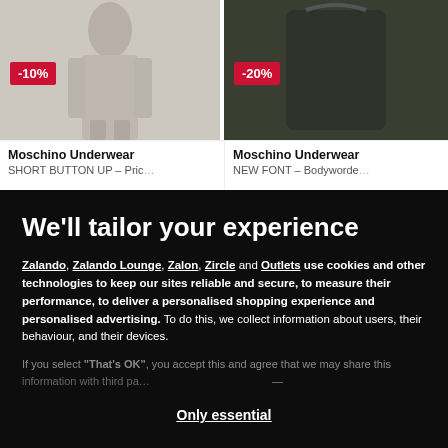[Figure (photo): Product image left: Moschino Underwear clothing item with -10% discount badge, light grey background]
[Figure (photo): Product image right: Moschino Underwear clothing item with -20% discount badge, dark olive background]
Moschino Underwear SHORT BUTTON UP – Pric…
Moschino Underwear NEW FONT – Bodyworde…
We'll tailor your experience
Zalando, Zalando Lounge, Zalon, Zircle and Outlets use cookies and other technologies to keep our sites reliable and secure, to measure their performance, to deliver a personalised shopping experience and personalised advertising. To do this, we collect information about users, their behaviour, and their devices.
If you select "That's OK", you accept this and agree that we may share this information with third partners…
Only essential
Set preferences
That's OK